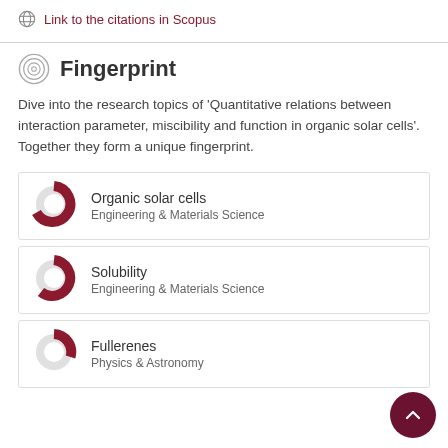Link to the citations in Scopus
Fingerprint
Dive into the research topics of 'Quantitative relations between interaction parameter, miscibility and function in organic solar cells'. Together they form a unique fingerprint.
Organic solar cells – Engineering & Materials Science
Solubility – Engineering & Materials Science
Fullerenes – Physics & Astronomy